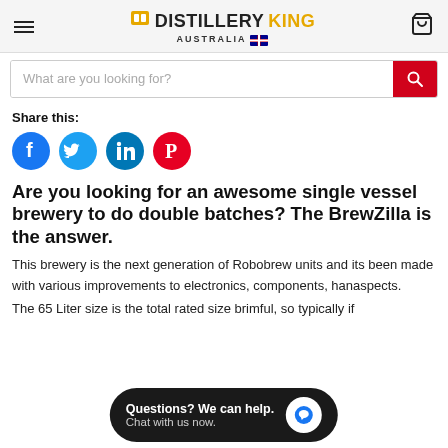DISTILLERYKING AUSTRALIA
What are you looking for?
Share this:
[Figure (infographic): Social share icons: Facebook, Twitter, LinkedIn, Pinterest]
Are you looking for an awesome single vessel brewery to do double batches? The BrewZilla is the answer.
This brewery is the next generation of Robobrew units and its been made with various improvements to electronics, components, hand aspects.
The 65 Liter size is the total rated size brimful, so typically if
Questions? We can help. Chat with us now.